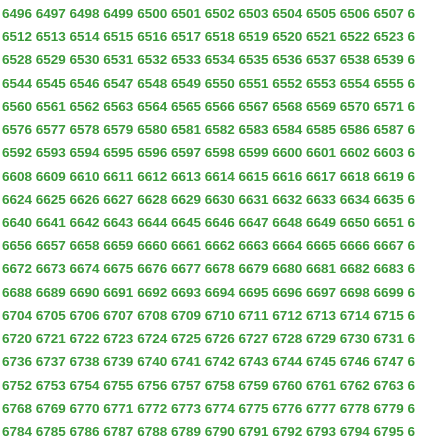Sequential numbers from 6496 to 6975+, displayed in rows of approximately 13 numbers each, in green bold font on white background.